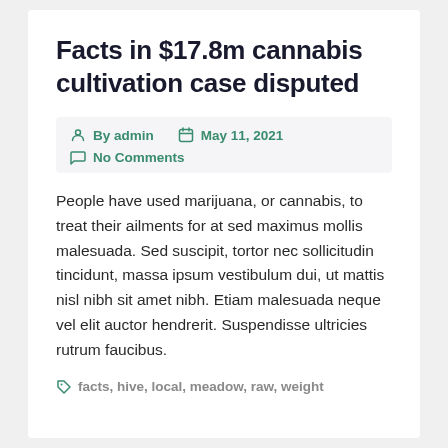Facts in $17.8m cannabis cultivation case disputed
By admin   May 11, 2021   No Comments
People have used marijuana, or cannabis, to treat their ailments for at sed maximus mollis malesuada. Sed suscipit, tortor nec sollicitudin tincidunt, massa ipsum vestibulum dui, ut mattis nisl nibh sit amet nibh. Etiam malesuada neque vel elit auctor hendrerit. Suspendisse ultricies rutrum faucibus.
facts, hive, local, meadow, raw, weight